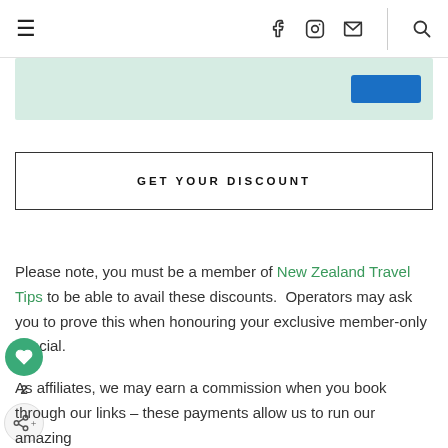≡   f  ◯  ✉  |  🔍
[Figure (screenshot): Partial green banner with a blue button on the right]
GET YOUR DISCOUNT
Please note, you must be a member of New Zealand Travel Tips to be able to avail these discounts.  Operators may ask you to prove this when honouring your exclusive member-only special.
As affiliates, we may earn a commission when you book through our links – these payments allow us to run our amazing